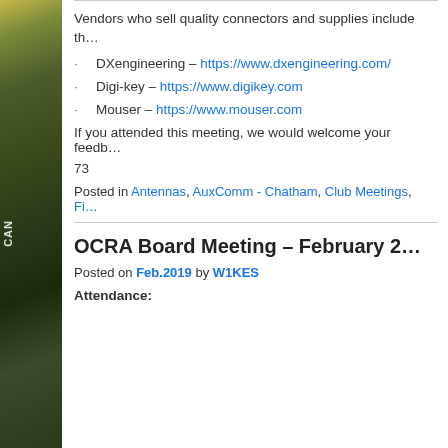Vendors who sell quality connectors and supplies include th…
DXengineering – https://www.dxengineering.com/
Digi-key – https://www.digikey.com
Mouser – https://www.mouser.com
If you attended this meeting, we would welcome your feedb…
73
Posted in Antennas, AuxComm - Chatham, Club Meetings, Fi…
OCRA Board Meeting – February 2…
Posted on Feb.2019 by W1KES
Attendance: